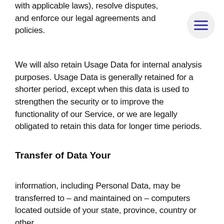with applicable laws), resolve disputes, and enforce our legal agreements and policies.
We will also retain Usage Data for internal analysis purposes. Usage Data is generally retained for a shorter period, except when this data is used to strengthen the security or to improve the functionality of our Service, or we are legally obligated to retain this data for longer time periods.
Transfer of Data Your
information, including Personal Data, may be transferred to – and maintained on – computers located outside of your state, province, country or other